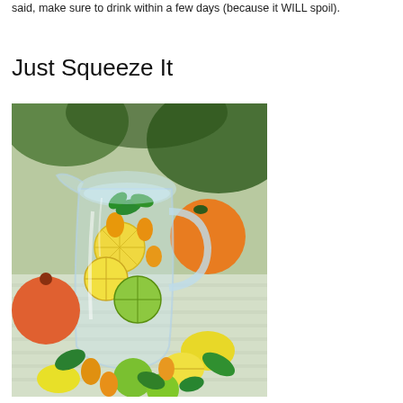said, make sure to drink within a few days (because it WILL spoil).
Just Squeeze It
[Figure (photo): A glass pitcher filled with water infused with sliced citrus fruits including lemons, limes, oranges, and kumquats with mint leaves. Surrounded by various citrus fruits on a table.]